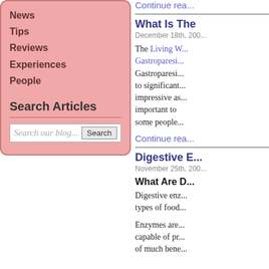News
Tips
Reviews
Experiences
People
Search Articles
Search our blog...
Continue rea...
What Is The...
December 18th, 200...
The Living W... Gastroparesi... Gastroparesi... to significant... impressive as... important to... some people...
Continue rea...
Digestive E...
November 25th, 200...
What Are D...
Digestive enz... types of food...
Enzymes are... capable of pr... of much bene...